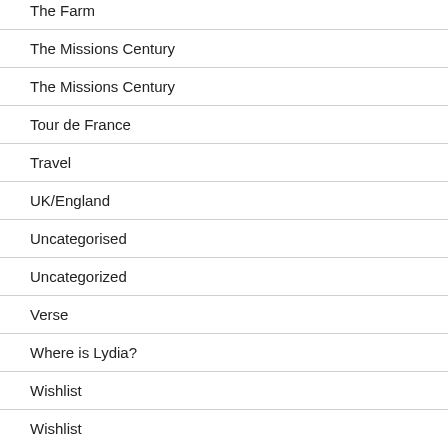The Farm
The Missions Century
The Missions Century
Tour de France
Travel
UK/England
Uncategorised
Uncategorized
Verse
Where is Lydia?
Wishlist
Wishlist